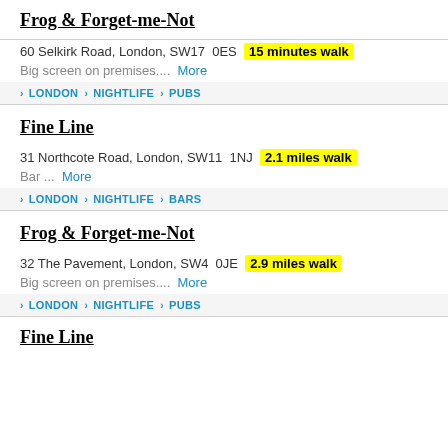Frog & Forget-me-Not
60 Selkirk Road, London, SW17 0ES  15 minutes walk
Big screen on premises....  More
> LONDON > NIGHTLIFE > PUBS
Fine Line
31 Northcote Road, London, SW11 1NJ  2.1 miles walk
Bar ...  More
> LONDON > NIGHTLIFE > BARS
Frog & Forget-me-Not
32 The Pavement, London, SW4 0JE  2.9 miles walk
Big screen on premises....  More
> LONDON > NIGHTLIFE > PUBS
Fine Line